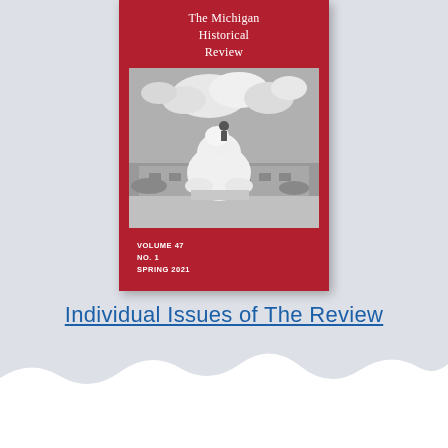[Figure (photo): Cover of The Michigan Historical Review journal, Volume 47, No. 1, Spring 2021. Red cover with white serif title text at top and a black-and-white photograph of a large white sculpture (bear/wolverine) in front of a modern building with cloudy sky.]
Individual Issues of The Review